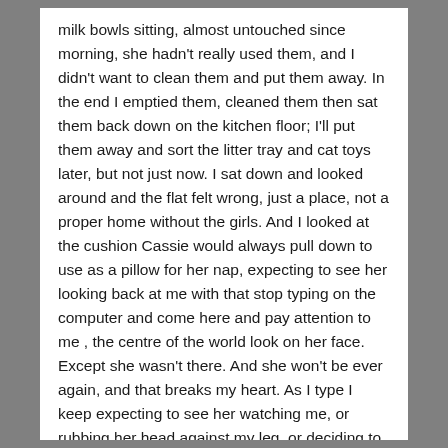milk bowls sitting, almost untouched since morning, she hadn't really used them, and I didn't want to clean them and put them away. In the end I emptied them, cleaned them then sat them back down on the kitchen floor; I'll put them away and sort the litter tray and cat toys later, but not just now. I sat down and looked around and the flat felt wrong, just a place, not a proper home without the girls. And I looked at the cushion Cassie would always pull down to use as a pillow for her nap, expecting to see her looking back at me with that stop typing on the computer and come here and pay attention to me , the centre of the world look on her face. Except she wasn't there. And she won't be ever again, and that breaks my heart. As I type I keep expecting to see her watching me, or rubbing her head against my leg, or deciding to curl up and snooze on my foot. But she won't, she's not here anymore, just an echo now.
I sat there thinking only two hours ago you were here in our home and now you're gone from me and how can that possibly be? And who will demand a share of biscuit or